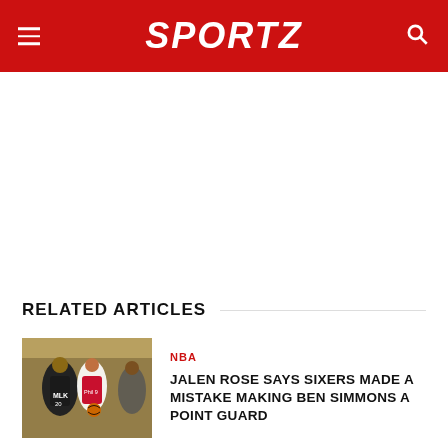SPORTZ
RELATED ARTICLES
[Figure (photo): NBA basketball players in game action, including player wearing MLK #20 jersey and a player in Philadelphia 76ers uniform]
NBA
JALEN ROSE SAYS SIXERS MADE A MISTAKE MAKING BEN SIMMONS A POINT GUARD